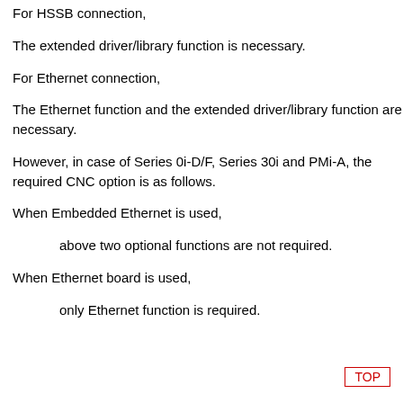For HSSB connection,
The extended driver/library function is necessary.
For Ethernet connection,
The Ethernet function and the extended driver/library function are necessary.
However, in case of Series 0i-D/F, Series 30i and PMi-A, the required CNC option is as follows.
When Embedded Ethernet is used,
above two optional functions are not required.
When Ethernet board is used,
only Ethernet function is required.
TOP